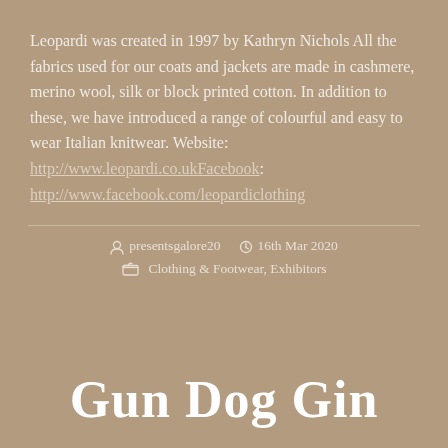Leopardi was created in 1997 by Kathryn Nichols All the fabrics used for our coats and jackets are made in cashmere, merino wool, silk or block printed cotton. In addition to these, we have introduced a range of colourful and easy to wear Italian knitwear. Website: http://www.leopardi.co.ukFacebook: http://www.facebook.com/leopardiclothing
presentsgalore20   16th Mar 2020   Clothing & Footwear, Exhibitors
Gun Dog Gin